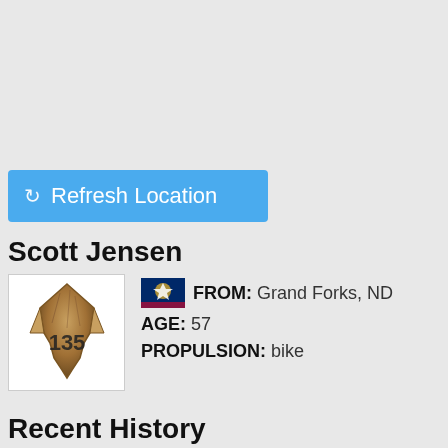Refresh Location
Scott Jensen
[Figure (illustration): Arrowhead/spearhead shaped icon with number 135 on it, overlaid on a white background box. Beside it a North Dakota state flag, with text: FROM: Grand Forks, ND | AGE: 57 | PROPULSION: bike]
Recent History
#263 on 08:50:40 AM (CST) 01/29/19 (2 days, 10 hours, 37
#262 on 08:45:40 AM (CST) 01/29/19 (2 days, 10 hours, 47